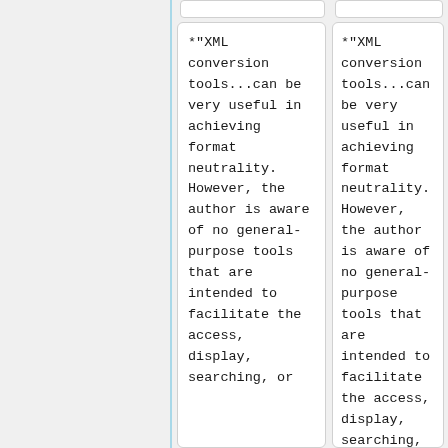*"XML conversion tools...can be very useful in achieving format neutrality. However, the author is aware of no general-purpose tools that are intended to facilitate the access, display, searching, or
*"XML conversion tools...can be very useful in achieving format neutrality. However, the author is aware of no general-purpose tools that are intended to facilitate the access, display, searching, or